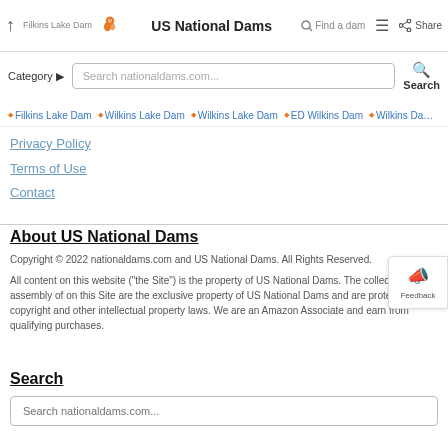↑ Filkins Lake Dam | US National Dams | ↺Find a dam | ☰ | 🔗 Share
Category ▶ | Search nationaldams.com... | 🔍 Search
◆ Filkins Lake Dam  ◆ Wilkins Lake Dam  ◆ Wilkins Lake Dam  ◆ ED Wilkins Dam  ◆ Wilkins Da...
Privacy Policy
Terms of Use
Contact
About US National Dams
Copyright © 2022 nationaldams.com and US National Dams. All Rights Reserved.
All content on this website ("the Site") is the property of US National Dams. The collection and assembly of on this Site are the exclusive property of US National Dams and are protected by copyright and other intellectual property laws. We are an Amazon Associate and earn from qualifying purchases.
Search
Search nationaldams.com...